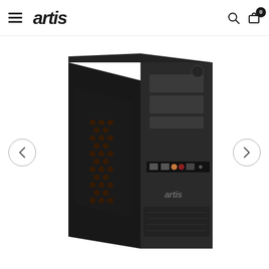artis — navigation header with hamburger menu, logo, search icon, and cart icon with badge 0
[Figure (photo): Black Artis mid-tower PC case with front panel ports (USB, audio), ventilated side panel with mesh fan guard, and optical drive bays, shown at an angle against a white background. Left navigation arrow and right navigation arrow buttons visible on either side.]